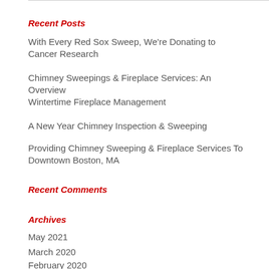Recent Posts
With Every Red Sox Sweep, We're Donating to Cancer Research
Chimney Sweepings & Fireplace Services: An Overview
Wintertime Fireplace Management
A New Year Chimney Inspection & Sweeping
Providing Chimney Sweeping & Fireplace Services To Downtown Boston, MA
Recent Comments
Archives
May 2021
March 2020
February 2020